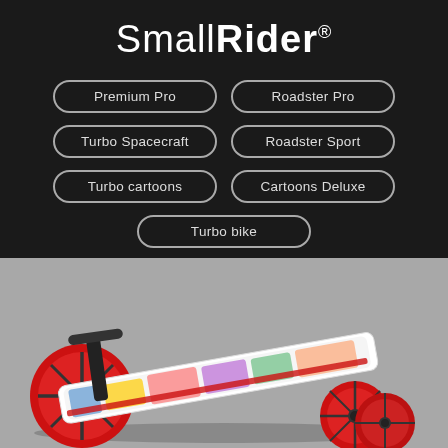SmallRider®
Premium Pro
Roadster Pro
Turbo Spacecraft
Roadster Sport
Turbo cartoons
Cartoons Deluxe
Turbo bike
[Figure (photo): A SmallRider children's scooter with comic-book cartoon print design, white frame with red wheels (3 wheels total), laid flat on a grey background. The scooter shows bright red large front and rear wheels, black T-bar handlebar area, and colorful superhero/cartoon graphics across the deck.]